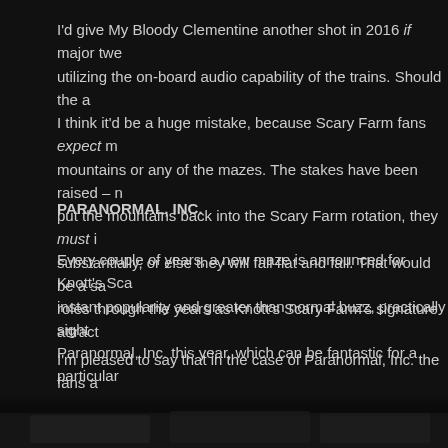I'd give My Bloody Clementine another shot in 2016 if major twe... utilizing the on-board audio capability of the trains. Should the a... I think it'd be a huge mistake, because Scary Farm fans expect m... mountains or any of the mazes. The stakes have been raised – n... put the mountains back into the Scary Farm rotation, they must i... substantially, or else they will fall flat and fail. That would be a sa... roles through the years as Knott's Scary Farm's signature attract...
PARANORMAL, INC.
Every couple of years, a new maze is announced for Knott's Sca... instant popularity and greater than normal buzz, practically sight... Paranormal, Inc. this year, which can be fantastic for a particular... expectations, or can be disastrous all around when the hype isn'...
I'm pleased to say that in the case of Paranormal, Inc. the fans a... very pleased with his creation – it exceeds what people expect f... one of the great steps forward in maze evolution at Knott's for ye...
[Figure (photo): Dark atmospheric image at bottom of page, appears to be a haunted attraction or dimly lit scene]